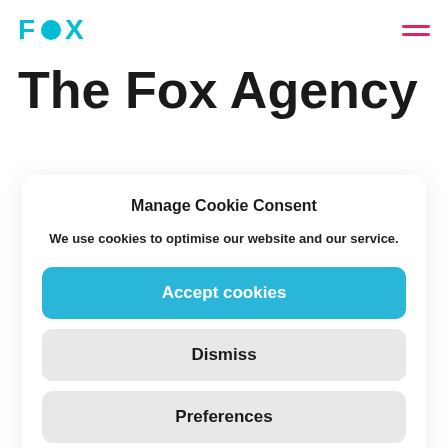[Figure (logo): Fox Agency logo with cyan stylized text F O X with a filled circle as the O, and a pink hamburger menu icon in the top right corner]
The Fox Agency
Manage Cookie Consent
We use cookies to optimise our website and our service.
Accept cookies
Dismiss
Preferences
Cookie policy   Privacy policy